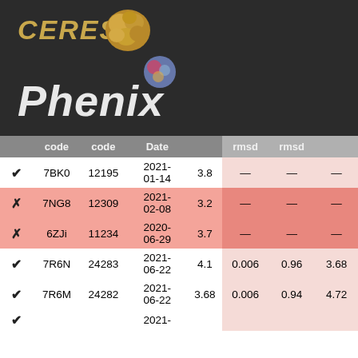[Figure (logo): CERES logo with stylized text and molecular/structure icon on dark background, with Phenix logo and italic white text]
|  | code | code | Date |  | rmsd | rmsd |  |
| --- | --- | --- | --- | --- | --- | --- | --- |
| ✔ | 7BK0 | 12195 | 2021-01-14 | 3.8 | — | — | — |
| ✗ | 7NG8 | 12309 | 2021-02-08 | 3.2 | — | — | — |
| ✗ | 6ZJi | 11234 | 2020-06-29 | 3.7 | — | — | — |
| ✔ | 7R6N | 24283 | 2021-06-22 | 4.1 | 0.006 | 0.96 | 3.68 |
| ✔ | 7R6M | 24282 | 2021-06-22 | 3.68 | 0.006 | 0.94 | 4.72 |
| ✔ |  |  | 2021- |  |  |  |  |